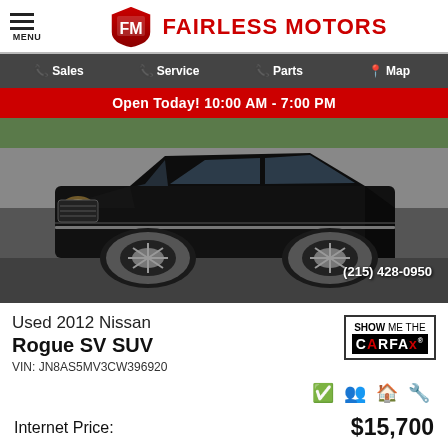MENU — FAIRLESS MOTORS
Sales  Service  Parts  Map
Open Today! 10:00 AM - 7:00 PM
[Figure (photo): Black 2012 Nissan Rogue SV SUV parked outdoors, front three-quarter view. Phone number (215) 428-0950 shown in lower right.]
Used 2012 Nissan Rogue SV SUV
VIN: JN8AS5MV3CW396920
[Figure (logo): SHOW ME THE CARFAX badge logo]
Internet Price:
$15,700